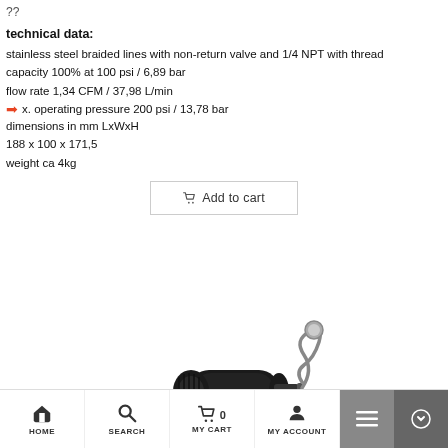??
technical data:
stainless steel braided lines with non-return valve and 1/4 NPT with thread
capacity 100% at 100 psi / 6,89 bar
flow rate 1,34 CFM / 37,98 L/min
x. operating pressure 200 psi / 13,78 bar
dimensions in mm LxWxH
188 x 100 x 171,5
weight ca 4kg
[Figure (photo): Air compressor product photo - black portable air compressor with coiled stainless steel hose attachment]
HOME   SEARCH   MY CART 0   MY ACCOUNT